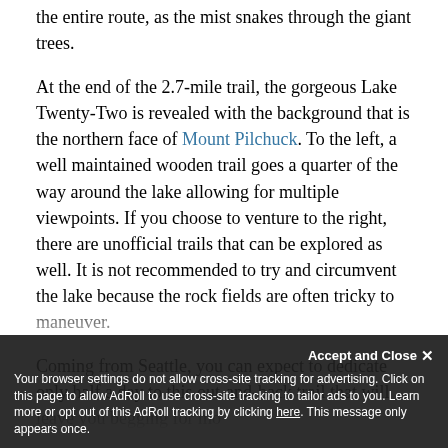the entire route, as the mist snakes through the giant trees.
At the end of the 2.7-mile trail, the gorgeous Lake Twenty-Two is revealed with the background that is the northern face of Mount Pilchuck. To the left, a well maintained wooden trail goes a quarter of the way around the lake allowing for multiple viewpoints. If you choose to venture to the right, there are unofficial trails that can be explored as well. It is not recommended to try and circumvent the lake because the rock fields are often tricky to maneuver.
Coming from Seattle, you can expect to dedicate only half a day to this out-and-back trail that will leave you begging for mo...
Your browser settings do not allow cross-site tracking for advertising. Click on this page to allow AdRoll to use cross-site tracking to tailor ads to you. Learn more or opt out of this AdRoll tracking by clicking here. This message only appears once.